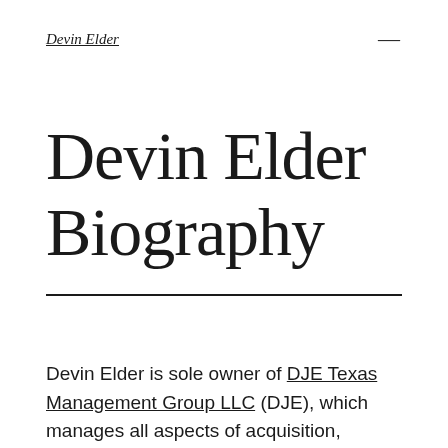Devin Elder
Devin Elder Biography
Devin Elder is sole owner of DJE Texas Management Group LLC (DJE), which manages all aspects of acquisition, repositioning, and